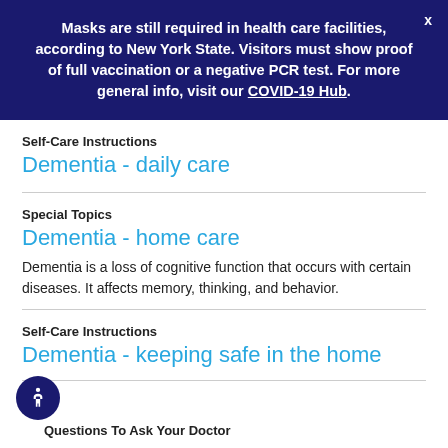Masks are still required in health care facilities, according to New York State. Visitors must show proof of full vaccination or a negative PCR test. For more general info, visit our COVID-19 Hub.
Self-Care Instructions
Dementia - daily care
Special Topics
Dementia - home care
Dementia is a loss of cognitive function that occurs with certain diseases. It affects memory, thinking, and behavior.
Self-Care Instructions
Dementia - keeping safe in the home
Questions To Ask Your Doctor